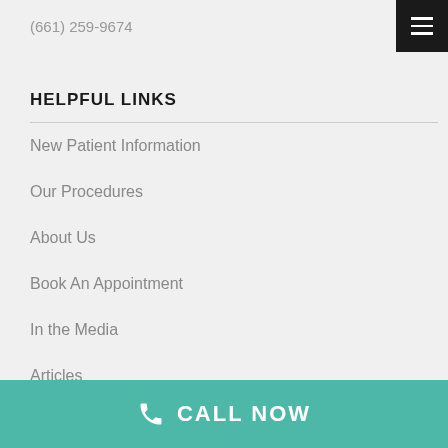(661) 259-9674
HELPFUL LINKS
New Patient Information
Our Procedures
About Us
Book An Appointment
In the Media
Articles
CALL NOW